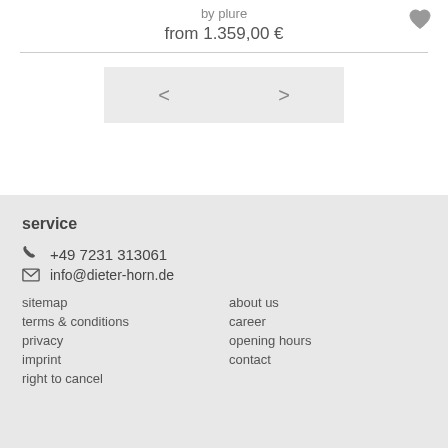by plure
from 1.359,00 €
[Figure (other): Navigation previous/next buttons (< and >) on light grey background]
service
+49 7231 313061
info@dieter-horn.de
sitemap
about us
terms & conditions
career
privacy
opening hours
imprint
contact
right to cancel